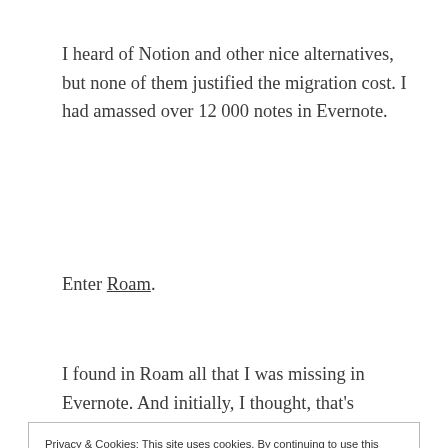I heard of Notion and other nice alternatives, but none of them justified the migration cost. I had amassed over 12 000 notes in Evernote.
Enter Roam.
I found in Roam all that I was missing in Evernote. And initially, I thought, that's
Privacy & Cookies: This site uses cookies. By continuing to use this website, you agree to their use.
To find out more, including how to control cookies, see here: Cookie Policy
Close and accept
supporting any kind of knowledge work,